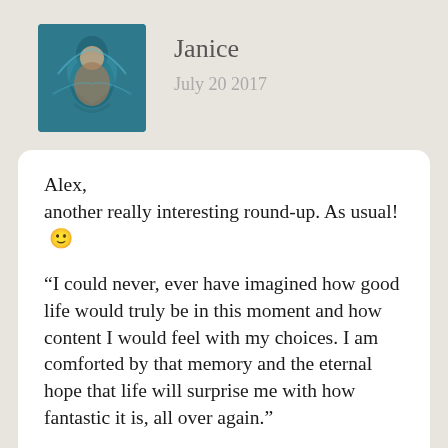[Figure (photo): Small square avatar photo of a person underwater in a blue-green pool or ocean, seen from above.]
Janice
July 20 2017
Alex,
another really interesting round-up. As usual! 🙂

“I could never, ever have imagined how good life would truly be in this moment and how content I would feel with my choices. I am comforted by that memory and the eternal hope that life will surprise me with how fantastic it is, all over again.”

You have created something wonderful. Your life. How amazing. And although you have realised how challenging life can